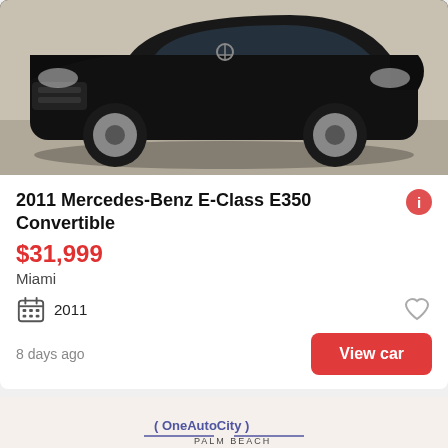[Figure (photo): Black 2011 Mercedes-Benz E-Class E350 Convertible, top-down view, on a light background]
2011 Mercedes-Benz E-Class E350 Convertible
$31,999
Miami
2011
8 days ago
View car
[Figure (photo): Second car listing: black Mercedes-Benz convertible at a dealership (OneAutoCity Palm Beach), sponsored listing with See photo button]